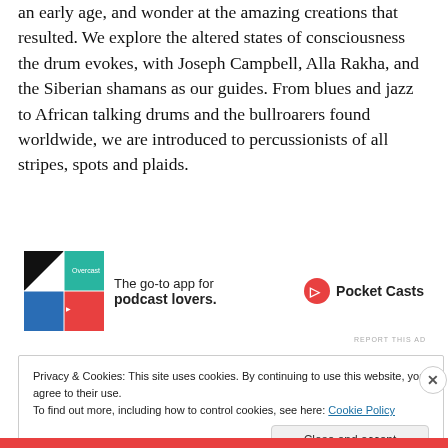an early age, and wonder at the amazing creations that resulted. We explore the altered states of consciousness the drum evokes, with Joseph Campbell, Alla Rakha, and the Siberian shamans as our guides. From blues and jazz to African talking drums and the bullroarers found worldwide, we are introduced to percussionists of all stripes, spots and plaids.
[Figure (other): Pocket Casts advertisement banner with colorful app icon logo and text 'The go-to app for podcast lovers.' with Pocket Casts logo]
REPORT THIS AD
Privacy & Cookies: This site uses cookies. By continuing to use this website, you agree to their use.
To find out more, including how to control cookies, see here: Cookie Policy
Close and accept